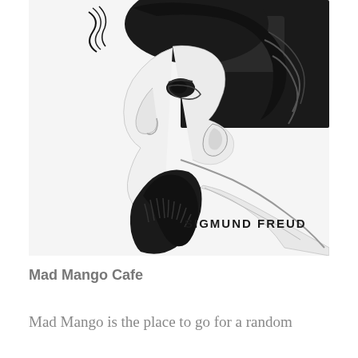[Figure (illustration): Black and white cartoon/caricature illustration of Sigmund Freud in profile view, showing his distinctive beard and features. The text 'SIGMUND FREUD' is written in bold lettering in the lower right portion of the illustration.]
Mad Mango Cafe
Mad Mango is the place to go for a random